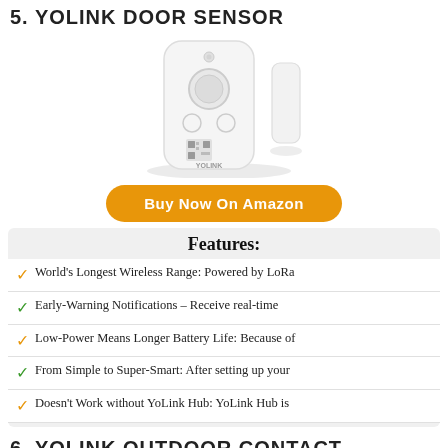5. YOLINK DOOR SENSOR
[Figure (photo): YoLink door sensor product photo showing the main white rectangular device with a circular button and QR code, alongside a smaller white magnet piece]
Buy Now On Amazon
Features:
World's Longest Wireless Range: Powered by LoRa
Early-Warning Notifications – Receive real-time
Low-Power Means Longer Battery Life: Because of
From Simple to Super-Smart: After setting up your
Doesn't Work without YoLink Hub: YoLink Hub is
6. YOLINK OUTDOOR CONTACT SENSOR